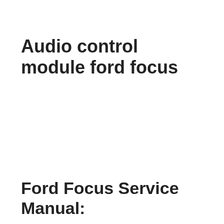Audio control module ford focus
Ford Focus Service Manual: